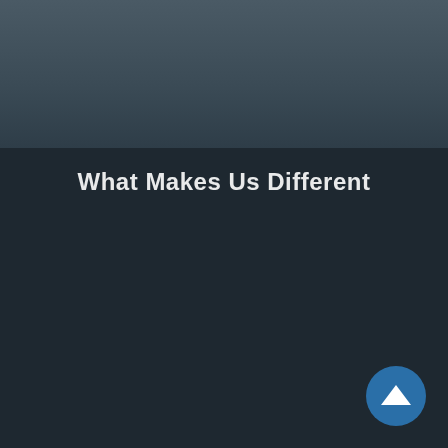[Figure (logo): Venue Communications logo with location pin icon above VENUE text and COMMUNICATIONS subtitle in smaller letters]
[Figure (infographic): Navigation bar with search (magnifying glass) icon and hamburger menu (three horizontal lines) icon on the right side]
What Makes Us Different
[Figure (illustration): Dark teal/navy background area representing a webpage section content area, mostly dark]